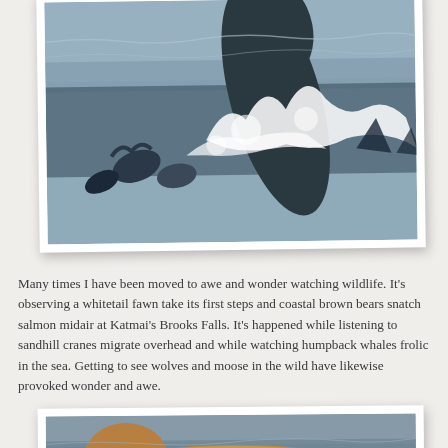[Figure (photo): Humpback whales surfacing and breaching in the ocean with pelicans nearby, water splashing dramatically]
Many times I have been moved to awe and wonder watching wildlife. It's observing a whitetail fawn take its first steps and coastal brown bears snatch salmon midair at Katmai's Brooks Falls. It's happened while listening to sandhill cranes migrate overhead and while watching humpback whales frolic in the sea. Getting to see wolves and moose in the wild have likewise provoked wonder and awe.
[Figure (photo): Brown bear (grizzly) photographed close up near water, showing thick fur]